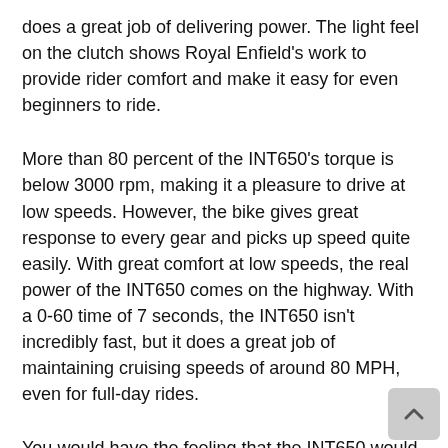does a great job of delivering power. The light feel on the clutch shows Royal Enfield's work to provide rider comfort and make it easy for even beginners to ride.
More than 80 percent of the INT650's torque is below 3000 rpm, making it a pleasure to drive at low speeds. However, the bike gives great response to every gear and picks up speed quite easily. With great comfort at low speeds, the real power of the INT650 comes on the highway. With a 0-60 time of 7 seconds, the INT650 isn't incredibly fast, but it does a great job of maintaining cruising speeds of around 80 MPH, even for full-day rides.
You would have the feeling that the INT650 would be difficult to handle in corners and tight corners, but it surprisingly does this despite being a relatively bulky bike. The INT650 is a fun bike that really brings out its magic on the highways at cruising speeds. To put it simply, the INT650 does everything right for a modern cruiser.